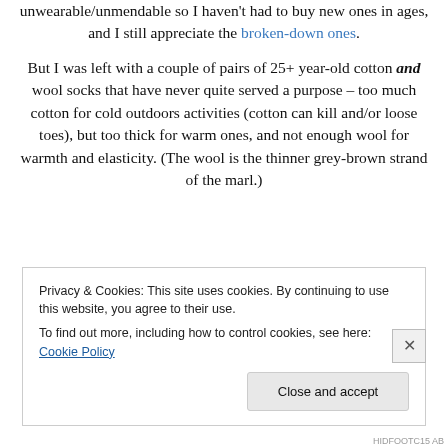unwearable/unmendable so I haven't had to buy new ones in ages, and I still appreciate the broken-down ones.
But I was left with a couple of pairs of 25+ year-old cotton and wool socks that have never quite served a purpose – too much cotton for cold outdoors activities (cotton can kill and/or loose toes), but too thick for warm ones, and not enough wool for warmth and elasticity. (The wool is the thinner grey-brown strand of the marl.)
Privacy & Cookies: This site uses cookies. By continuing to use this website, you agree to their use. To find out more, including how to control cookies, see here: Cookie Policy